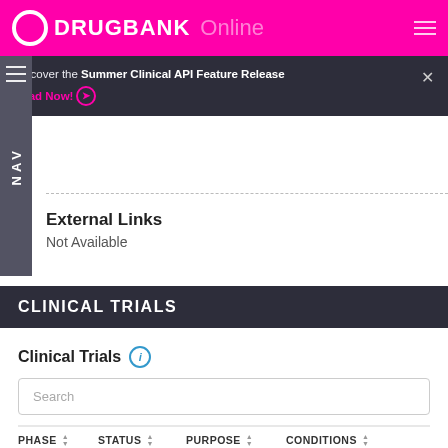DRUGBANK Online
Discover the Summer Clinical API Feature Release
Read Now!
3. DZIF: MVA-SARS-2-S DZIF COVID-19 Vaccine candidate [Link]
External Links
Not Available
CLINICAL TRIALS
Clinical Trials
| PHASE | STATUS | PURPOSE | CONDITIONS |
| --- | --- | --- | --- |